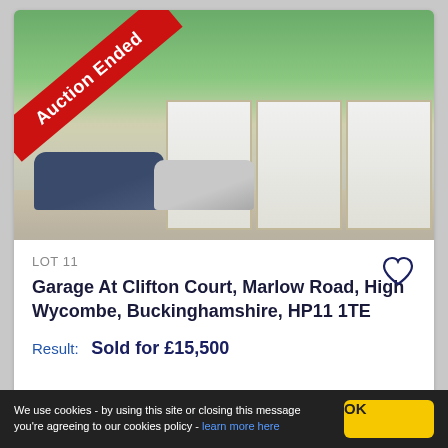[Figure (photo): Exterior photo of garage units at Clifton Court, Marlow Road, High Wycombe. Shows three white roller-shutter garage doors, a blue hatchback and silver car parked in front, trees and residential buildings in background. A red diagonal banner in top-left reads 'Auction Ended'.]
LOT 11
Garage At Clifton Court, Marlow Road, High Wycombe, Buckinghamshire, HP11 1TE
Result:   Sold for £15,500
We use cookies - by using this site or closing this message you're agreeing to our cookies policy - learn more here